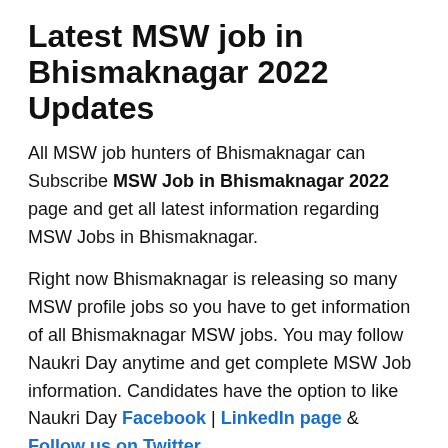Latest MSW job in Bhismaknagar 2022 Updates
All MSW job hunters of Bhismaknagar can Subscribe MSW Job in Bhismaknagar 2022 page and get all latest information regarding MSW Jobs in Bhismaknagar.
Right now Bhismaknagar is releasing so many MSW profile jobs so you have to get information of all Bhismaknagar MSW jobs. You may follow Naukri Day anytime and get complete MSW Job information. Candidates have the option to like Naukri Day Facebook | LinkedIn page & Follow us on Twitter.
Further queries of yours can Download Naukri Day App & Comment on below. We assure all MSW